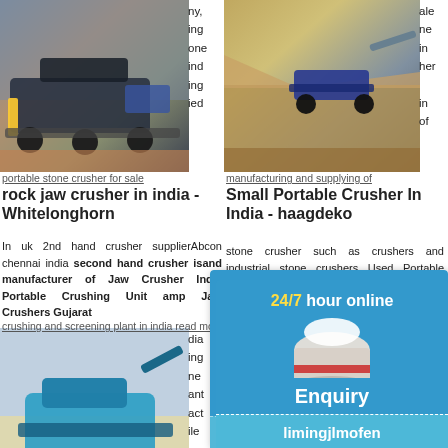[Figure (photo): Industrial mobile jaw crusher / portable stone crusher machine on site]
portable stone crusher for sale
rock jaw crusher in india - Whitelonghorn
In uk 2nd hand crusher supplierAbcon chennai india second hand crusher isand manufacturer of Jaw Crusher India Portable Crushing Unit amp Jaw Crushers Gujarat
[Figure (photo): Blue mobile stone crusher and screening plant]
crushing and screening plant in india read more
Stone Quarry And Stone Crusher On Lease Or On Rent In
Stone crusher quarry for lease
[Figure (photo): Portable stone crusher machine in open pit quarry]
manufacturing and supplying of
Small Portable Crusher In India - haagdeko
stone crusher such as crushers and industrial stone crushers Used Portable Crushing Plants Sale India jaw crusher coal mining
[Figure (photo): Quarry site with stone crushing machinery]
Profit From Crushing Crusher,
Quarry A P
[Figure (infographic): 24/7 hour online chat widget with cone crusher image, Click me to chat>> button, Enquiry section, and limingjlmofen text]